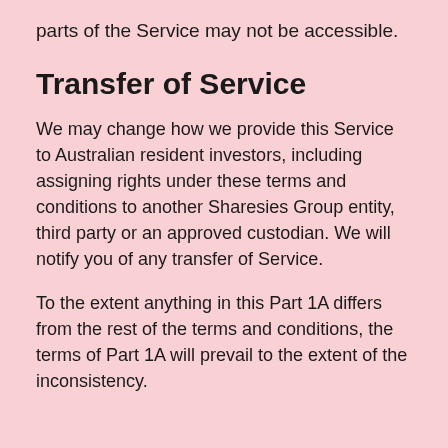parts of the Service may not be accessible.
Transfer of Service
We may change how we provide this Service to Australian resident investors, including assigning rights under these terms and conditions to another Sharesies Group entity, third party or an approved custodian. We will notify you of any transfer of Service.
To the extent anything in this Part 1A differs from the rest of the terms and conditions, the terms of Part 1A will prevail to the extent of the inconsistency.